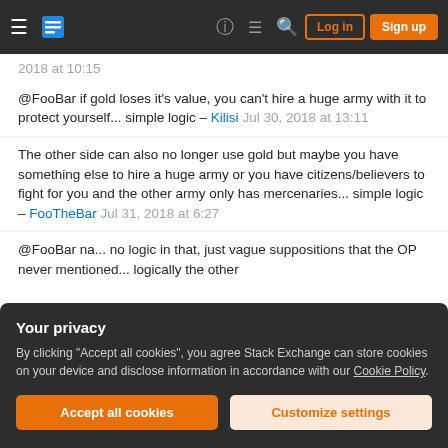Stack Exchange navigation bar with Log in and Sign up buttons
2018 at 10:15
@FooBar if gold loses it's value, you can't hire a huge army with it to protect yourself... simple logic – Kilisi Jul 30, 2018 at 13:11
The other side can also no longer use gold but maybe you have something else to hire a huge army or you have citizens/believers to fight for you and the other army only has mercenaries... simple logic – FooTheBar Jul 31, 2018 at 6:27
@FooBar na... no logic in that, just vague suppositions that the OP never mentioned... logically the other
Your privacy
By clicking "Accept all cookies", you agree Stack Exchange can store cookies on your device and disclose information in accordance with our Cookie Policy.